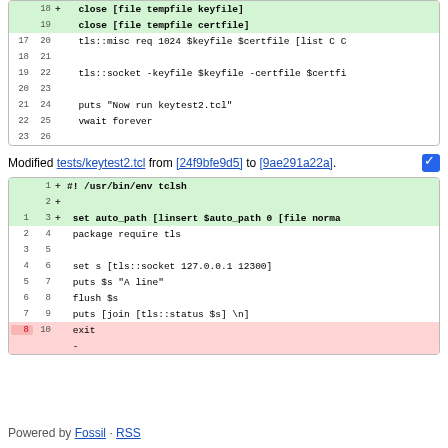[Figure (screenshot): Top code diff box showing lines 18-26 with lines 18 and 19 highlighted in green as additions (close [file tempfile keyfile] and close [file tempfile certfile]), and lines 17-23 as context]
Modified tests/keytest2.tcl from [24f9bfe9d5] to [9ae291a22a].
[Figure (screenshot): Bottom code diff box showing lines 1-10 with additions: lines 1-2 are #! /usr/bin/env tclsh and blank, line 3 is set auto_path [linsert $auto_path 0 [file norma (highlighted green), and context lines 1-10 including package require tls, set s [tls::socket 127.0.0.1 12300], puts $s, flush $s, puts [join, exit, and a removed line marker]
Powered by Fossil · RSS